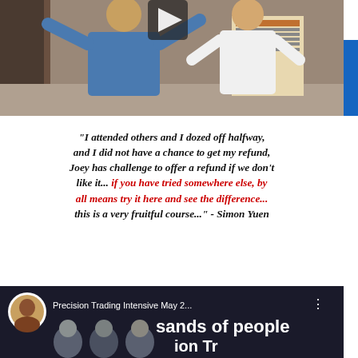[Figure (photo): Photo of two men at a presentation or seminar event. One man in a blue denim jacket has his arms raised, standing next to another man in a white shirt. There is a banner/poster visible in the background. A video play button overlay is partially visible at the top.]
"I attended others and I dozed off halfway, and I did not have a chance to get my refund, Joey has challenge to offer a refund if we don't like it... if you have tried somewhere else, by all means try it here and see the difference... this is a very fruitful course..." - Simon Yuen
[Figure (screenshot): Screenshot of a video thumbnail or social media post. Shows a profile avatar photo of an Asian man, title 'Precision Trading Intensive May 2...' with three dots menu. Large bold white text reads 'sands of people' and partially visible 'ion Tr' at the bottom. People visible in lower portion of image.]